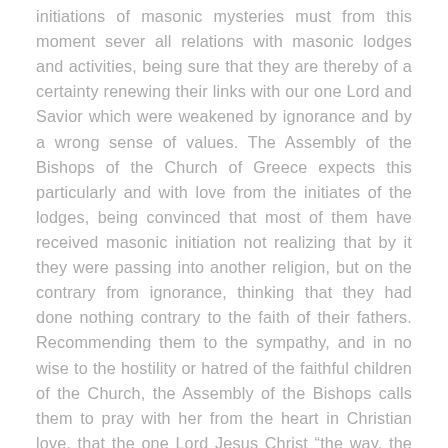initiations of masonic mysteries must from this moment sever all relations with masonic lodges and activities, being sure that they are thereby of a certainty renewing their links with our one Lord and Savior which were weakened by ignorance and by a wrong sense of values. The Assembly of the Bishops of the Church of Greece expects this particularly and with love from the initiates of the lodges, being convinced that most of them have received masonic initiation not realizing that by it they were passing into another religion, but on the contrary from ignorance, thinking that they had done nothing contrary to the faith of their fathers. Recommending them to the sympathy, and in no wise to the hostility or hatred of the faithful children of the Church, the Assembly of the Bishops calls them to pray with her from the heart in Christian love, that the one Lord Jesus Christ “the way, the truth and the life” may illumine and return to the truth who in ignorance have gone astray.”